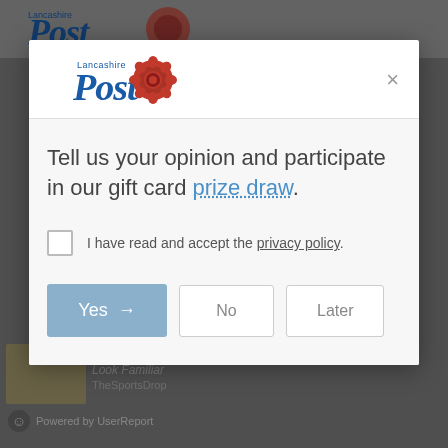[Figure (screenshot): Lancashire Post website header visible in background behind modal dialog, partially dimmed]
[Figure (logo): Lancashire Post logo with 'Lancashire' text above 'Post' in blue italic serif font, with red rose emblem to the right]
×
Tell us your opinion and participate in our gift card prize draw.
I have read and accept the privacy policy.
Yes →
No
Later
Powered by UserReport